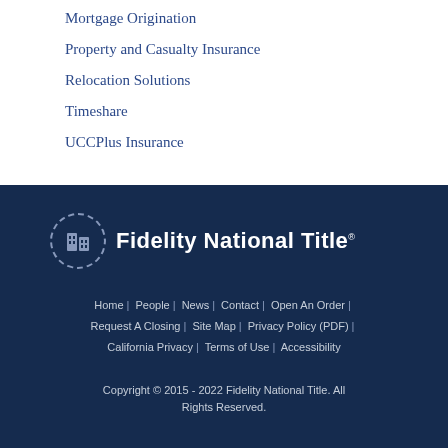Mortgage Origination
Property and Casualty Insurance
Relocation Solutions
Timeshare
UCCPlus Insurance
[Figure (logo): Fidelity National Title logo with circular building icon and white text on dark navy background]
Home | People | News | Contact | Open An Order | Request A Closing | Site Map | Privacy Policy (PDF) | California Privacy | Terms of Use | Accessibility
Copyright © 2015 - 2022 Fidelity National Title. All Rights Reserved.